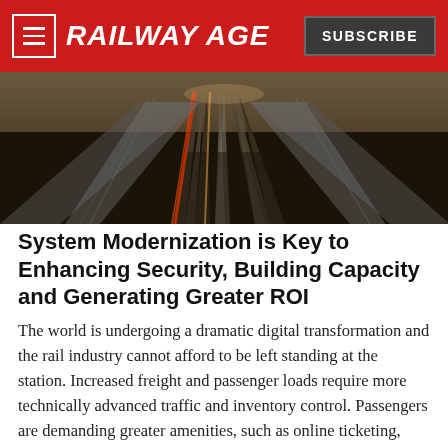RAILWAY AGE | SUBSCRIBE
[Figure (photo): Aerial view of railway tracks with motion blur light trails of a train passing at high speed, showing multiple parallel tracks and rail infrastructure.]
System Modernization is Key to Enhancing Security, Building Capacity and Generating Greater ROI
The world is undergoing a dramatic digital transformation and the rail industry cannot afford to be left standing at the station. Increased freight and passenger loads require more technically advanced traffic and inventory control. Passengers are demanding greater amenities, such as online ticketing, scheduling information and on-board Wi-Fi for their mobile devices